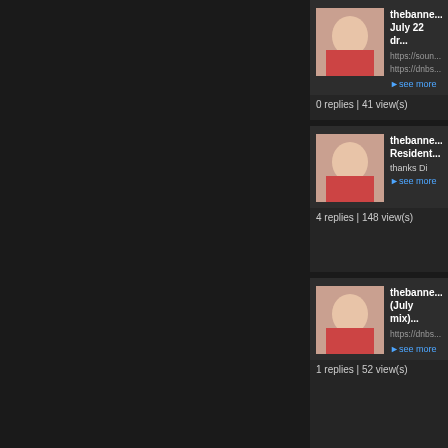thebanne... July 22 dr... https://soun... https://dnbs... see more 0 replies | 41 view(s)
thebanne... Resident... thanks Di see more 4 replies | 148 view(s)
thebanne... (July mix)... https://dnbs... see more 1 replies | 52 view(s)